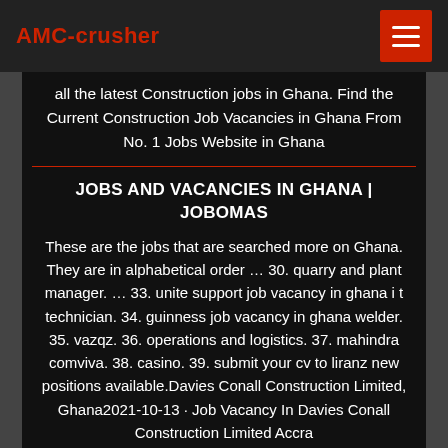AMC-crusher
all the latest Construction jobs in Ghana. Find the Current Construction Job Vacancies in Ghana From No. 1 Jobs Website in Ghana
JOBS AND VACANCIES IN GHANA | JOBOMAS
These are the jobs that are searched more on Ghana. They are in alphabetical order … 30. quarry and plant manager. … 33. unite support job vacancy in ghana i t technician. 34. guinness job vacancy in ghana welder. 35. vazqz. 36. operations and logistics. 37. mahindra comviva. 38. casino. 39. submit your cv to liranz new positions available.Davies Conall Construction Limited, Ghana2021-10-13 · Job Vacancy In Davies Conall Construction Limited Accra